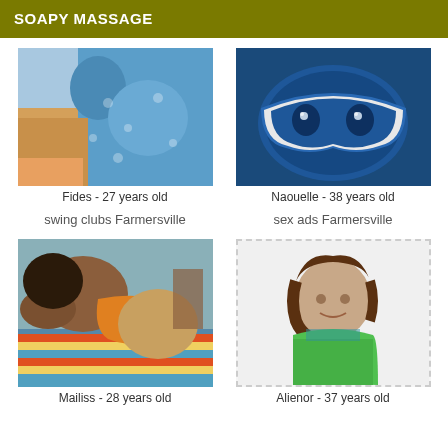SOAPY MASSAGE
[Figure (photo): Photo placeholder for Fides]
[Figure (photo): Photo placeholder for Naouelle]
Fides - 27 years old
Naouelle - 38 years old
swing clubs Farmersville
sex ads Farmersville
[Figure (photo): Photo placeholder for Mailiss]
[Figure (photo): Photo placeholder for Alienor]
Mailiss - 28 years old
Alienor - 37 years old